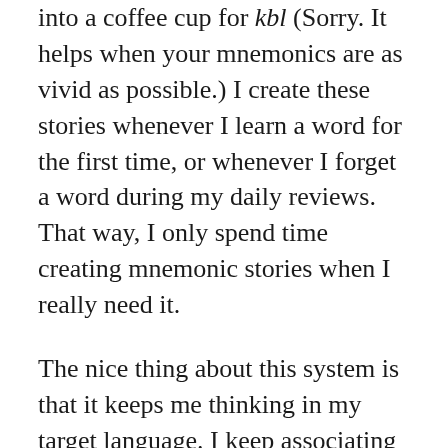into a coffee cup for kbl (Sorry. It helps when your mnemonics are as vivid as possible.) I create these stories whenever I learn a word for the first time, or whenever I forget a word during my daily reviews. That way, I only spend time creating mnemonic stories when I really need it.
The nice thing about this system is that it keeps me thinking in my target language. I keep associating similar sounding words in my target language, which serves as a review for two words at once, every time I see a new word. So both words (cheval and cheveux, for instance) become easier to remember.
How do you keep track of all of your pictures? Simple: the same way you keep track of all of your